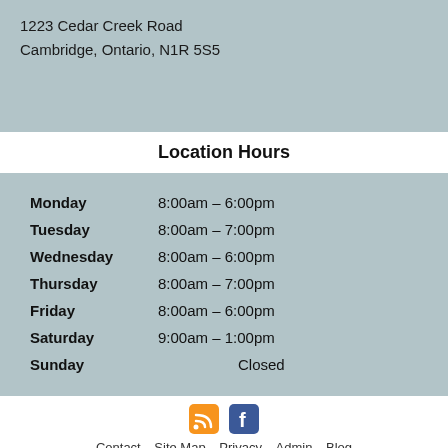1223 Cedar Creek Road
Cambridge, Ontario, N1R 5S5
Location Hours
| Day | Hours |
| --- | --- |
| Monday | 8:00am – 6:00pm |
| Tuesday | 8:00am – 7:00pm |
| Wednesday | 8:00am – 6:00pm |
| Thursday | 8:00am – 7:00pm |
| Friday | 8:00am – 6:00pm |
| Saturday | 9:00am – 1:00pm |
| Sunday | Closed |
Contact  Site Map  Privacy  Admin  Blog
© 2022 Cambridge Veterinary Services Cambridge, Ontario | Powered by Lifelearn WebDVM®4 Veterinary Websites